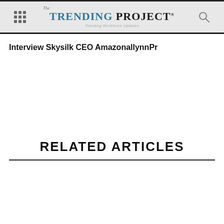The TRENDING PROJECT® — Trending Workforce Updates
Interview Skysilk CEO AmazonallynnPr
RELATED ARTICLES